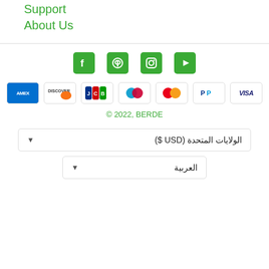Support
About Us
[Figure (infographic): Social media icons: Facebook, Pinterest, Instagram, YouTube — all in green rounded square buttons]
[Figure (infographic): Payment method logos: AMEX, Discover, JCB, Maestro, Mastercard, PayPal, VISA]
© 2022, BERDE
الولايات المتحدة (USD $)
العربية